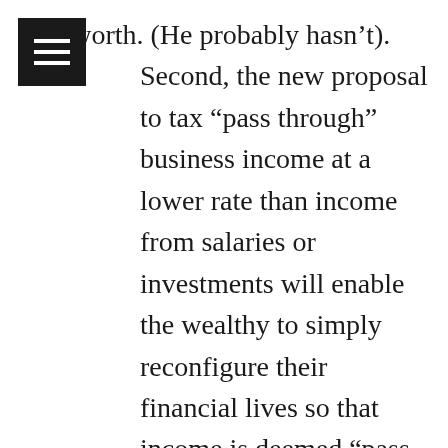net worth. (He probably hasn't). Second, the new proposal to tax “pass through” business income at a lower rate than income from salaries or investments will enable the wealthy to simply reconfigure their financial lives so that income is deemed “pass through.” The claim that this will mostly help mom-and-pop businesses is absurd. Voters with an ounce of compassion will oppose this reverse Robin Hood perversity with vigor.